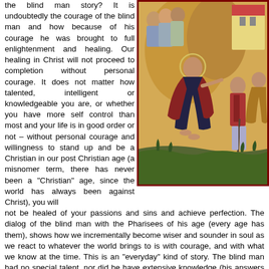the blind man story? It is undoubtedly the courage of the blind man and how because of his courage he was brought to full enlightenment and healing. Our healing in Christ will not proceed to completion without personal courage. It does not matter how talented, intelligent or knowledgeable you are, or whether you have more self control than most and your life is in good order or not – without personal courage and willingness to stand up and be a Christian in our post Christian age (a misnomer term, there has never been a "Christian" age, since the world has always been against Christ), you will
[Figure (illustration): Byzantine/Orthodox icon depicting Jesus Christ healing the blind man, painted in traditional iconographic style with gold and earth tones. Jesus is shown in dark robes extending his hand toward a blind man with a staff, with disciples in the background.]
not be healed of your passions and sins and achieve perfection. The dialog of the blind man with the Pharisees of his age (every age has them), shows how we incrementally become wiser and sounder in soul as we react to whatever the world brings to is with courage, and with what we know at the time. This is an "everyday" kind of story. The blind man had no special talent, nor did he have extensive knowledge (his answers showed him growing in knowledge), but he was courageous, and because of this, he gained not only physical eyes, but also